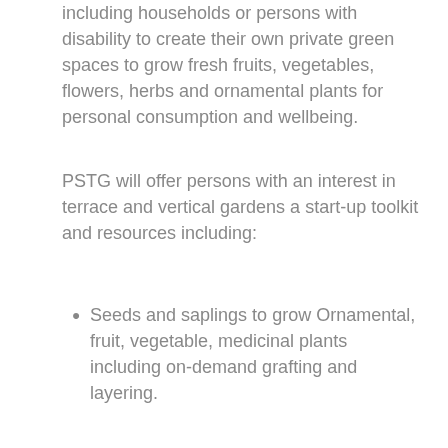including households or persons with disability to create their own private green spaces to grow fresh fruits, vegetables, flowers, herbs and ornamental plants for personal consumption and wellbeing.
PSTG will offer persons with an interest in terrace and vertical gardens a start-up toolkit and resources including:
Seeds and saplings to grow Ornamental, fruit, vegetable, medicinal plants including on-demand grafting and layering.
Nutrition products including vitamins, potting mix, vermicompost etc. necessary for healthy growth of plants.
Bee hive boxes, bee colonies and apiary services.
Materials required to install semi intensive,